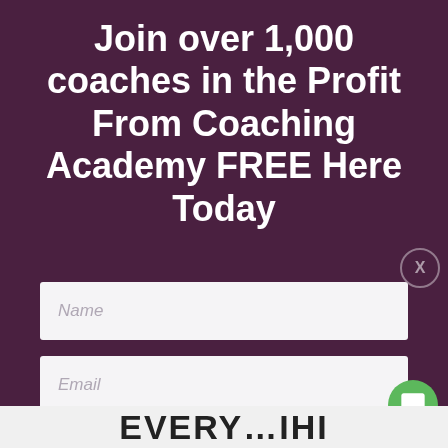Join over 1,000 coaches in the Profit From Coaching Academy FREE Here Today
[Figure (screenshot): Web form with Name and Email input fields and an ACCESS HERE button on a dark purple background]
ACCESS HERE